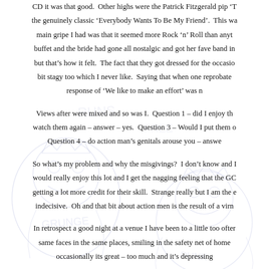CD it was that good. Other highs were the Patrick Fitzgerald pip 'T the genuinely classic 'Everybody Wants To Be My Friend'. This wa main gripe I had was that it seemed more Rock 'n' Roll than anyt buffet and the bride had gone all nostalgic and got her fave band in but that's how it felt. The fact that they got dressed for the occasio bit stagy too which I never like. Saying that when one reprobate response of 'We like to make an effort' was n
Views after were mixed and so was I. Question 1 – did I enjoy th watch them again – answer – yes. Question 3 – Would I put them o Question 4 – do action man's genitals arouse you – answe
So what's my problem and why the misgivings? I don't know and I would really enjoy this lot and I get the nagging feeling that the GC getting a lot more credit for their skill. Strange really but I am the e indecisive. Oh and that bit about action men is the result of a virn
In retrospect a good night at a venue I have been to a little too ofter same faces in the same places, smiling in the safety net of home occasionally its great – too much and it's depressing